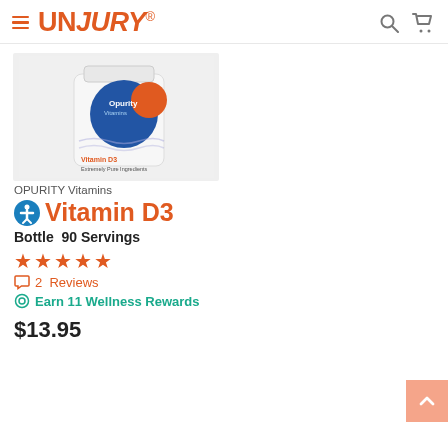UNJURY® — navigation header with hamburger menu, search icon, cart icon
[Figure (photo): Opurity Vitamins Vitamin D3 Dietary Supplement product bottle with blue and orange circular design on white/light gray background]
OPURITY Vitamins
Vitamin D3
Bottle  90 Servings
★★★★★
💬 2  Reviews
⊙ Earn 11 Wellness Rewards
$13.95